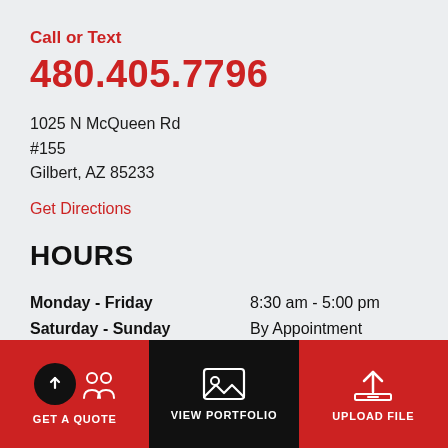Call or Text
480.405.7796
1025 N McQueen Rd
#155
Gilbert, AZ 85233
Get Directions
HOURS
| Monday - Friday | 8:30 am - 5:00 pm |
| Saturday - Sunday | By Appointment |
GET A QUOTE | VIEW PORTFOLIO | UPLOAD FILE